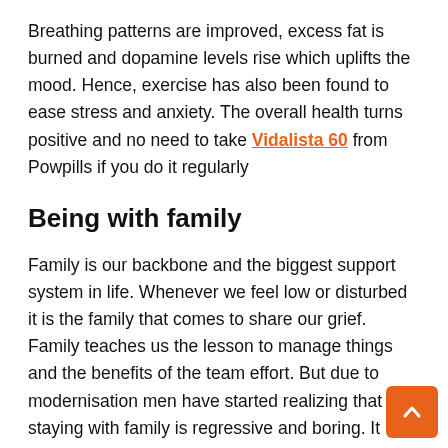Breathing patterns are improved, excess fat is burned and dopamine levels rise which uplifts the mood. Hence, exercise has also been found to ease stress and anxiety. The overall health turns positive and no need to take Vidalista 60 from Powpills if you do it regularly
Being with family
Family is our backbone and the biggest support system in life. Whenever we feel low or disturbed it is the family that comes to share our grief. Family teaches us the lesson to manage things and the benefits of the team effort. But due to modernisation men have started realizing that staying with family is regressive and boring. It